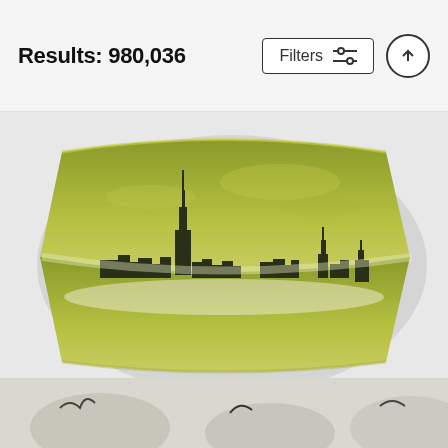Results: 980,036
[Figure (photo): A throw pillow featuring a NYC skyline photo with a green/olive tinted sky and city buildings silhouette printed on it, displayed against a light background.]
Escaping Urbania Throw Pillow
Andrew Paranavitana
$30
[Figure (photo): Partial view of another product at the bottom of the page, cropped, appears to be another throw pillow with dark bird/nature motif.]